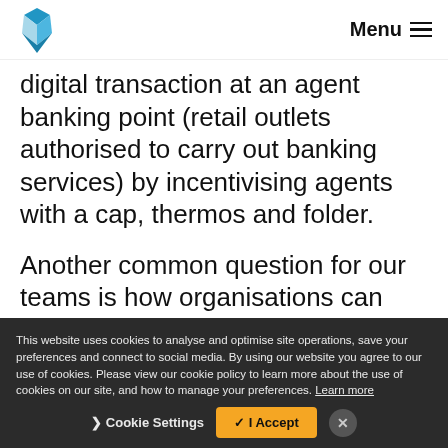Menu
digital transaction at an agent banking point (retail outlets authorised to carry out banking services) by incentivising agents with a cap, thermos and folder.
Another common question for our teams is how organisations can themselves use behavioural
This website uses cookies to analyse and optimise site operations, save your preferences and connect to social media. By using our website you agree to our use of cookies. Please view our cookie policy to learn more about the use of cookies on our site, and how to manage your preferences. Learn more